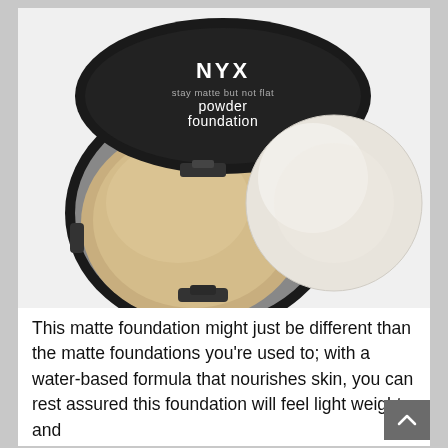[Figure (photo): NYX Stay Matte But Not Flat Powder Foundation compact open, showing pale beige powder pan on the left and a round white powder puff applicator on the right, against a white background.]
This matte foundation might just be different than the matte foundations you're used to; with a water-based formula that nourishes skin, you can rest assured this foundation will feel light weight and